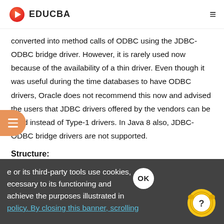EDUCBA
converted into method calls of ODBC using the JDBC-ODBC bridge driver. However, it is rarely used now because of the availability of a thin driver. Even though it was useful during the time databases to have ODBC drivers, Oracle does not recommend this now and advised the users that JDBC drivers offered by the vendors can be used instead of Type-1 drivers. In Java 8 also, JDBC-ODBC bridge drivers are not supported.
Structure:
e or its third-party tools use cookies, necessary to its functioning and achieve the purposes illustrated in policy. By closing this banner, scrolling